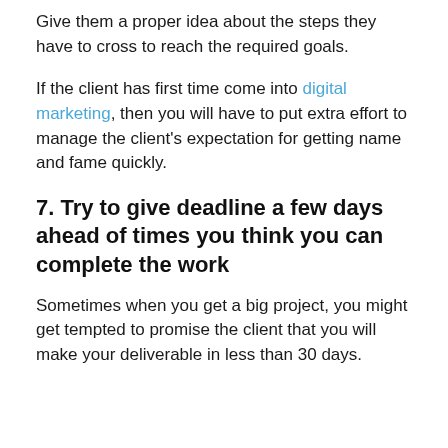Give them a proper idea about the steps they have to cross to reach the required goals.
If the client has first time come into digital marketing, then you will have to put extra effort to manage the client's expectation for getting name and fame quickly.
7. Try to give deadline a few days ahead of times you think you can complete the work
Sometimes when you get a big project, you might get tempted to promise the client that you will make your deliverable in less than 30 days.